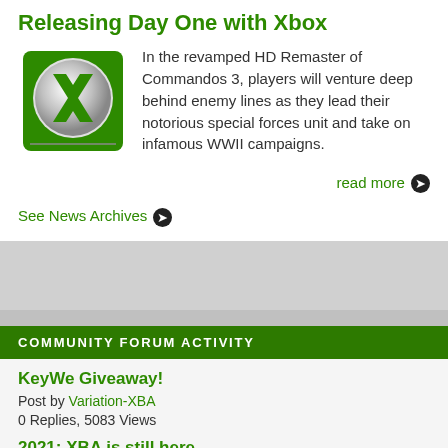Releasing Day One with Xbox
In the revamped HD Remaster of Commandos 3, players will venture deep behind enemy lines as they lead their notorious special forces unit and take on infamous WWII campaigns.
read more
See News Archives
COMMUNITY FORUM ACTIVITY
KeyWe Giveaway!
Post by Variation-XBA
0 Replies, 5083 Views
2021: XBA is still here
Post by shrew king
23 Replies, 43734 Views
Watch Dogs: Legion